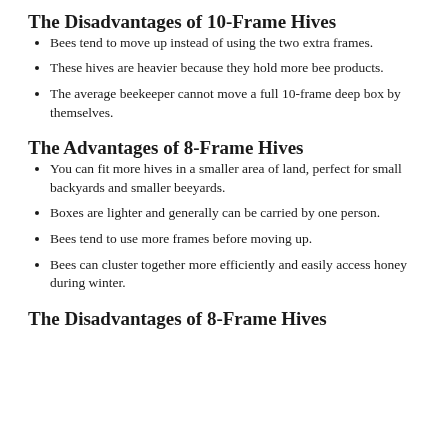The Disadvantages of 10-Frame Hives
Bees tend to move up instead of using the two extra frames.
These hives are heavier because they hold more bee products.
The average beekeeper cannot move a full 10-frame deep box by themselves.
The Advantages of 8-Frame Hives
You can fit more hives in a smaller area of land, perfect for small backyards and smaller beeyards.
Boxes are lighter and generally can be carried by one person.
Bees tend to use more frames before moving up.
Bees can cluster together more efficiently and easily access honey during winter.
The Disadvantages of 8-Frame Hives